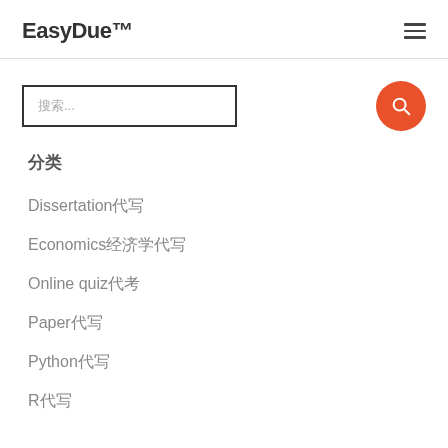EasyDue™
搜索...
分类
Dissertation代写
Economics经济学代写
Online quiz代考
Paper代写
Python代写
R代写